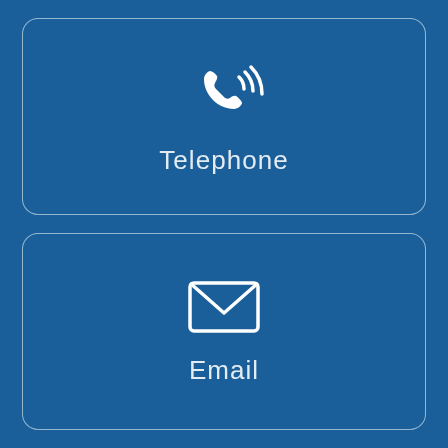[Figure (infographic): Blue rounded rectangle card with white telephone icon (handset with signal waves) and the label 'Telephone' below it]
[Figure (infographic): Blue rounded rectangle card with white envelope/email icon and the label 'Email' below it]